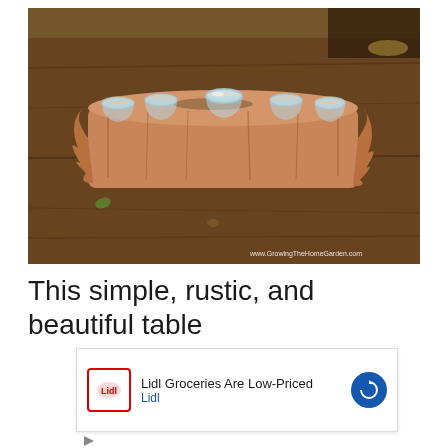[Figure (photo): A rustic log centerpiece with glass tea light holders drilled into it, sitting on a dark wooden table. The log has rough, natural bark edges and about 5-6 small clear glass votive cups set into holes along the top. Background shows outdoor garden setting with soil and greenery. Watermark reads www.GrowingTheHomeGarden.com]
This simple, rustic, and beautiful table
[Figure (other): Advertisement for Lidl Groceries. Shows Lidl logo in red circle, text 'Lidl Groceries Are Low-Priced' with 'Lidl' beneath in blue, and blue circular arrow icon on right.]